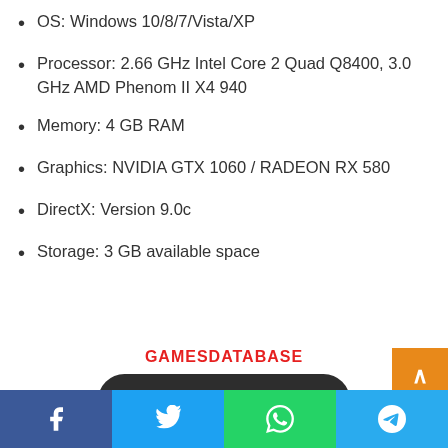OS: Windows 10/8/7/Vista/XP
Processor: 2.66 GHz Intel Core 2 Quad Q8400, 3.0 GHz AMD Phenom II X4 940
Memory: 4 GB RAM
Graphics: NVIDIA GTX 1060 / RADEON RX 580
DirectX: Version 9.0c
Storage: 3 GB available space
GAMESDATABASE
Download Here